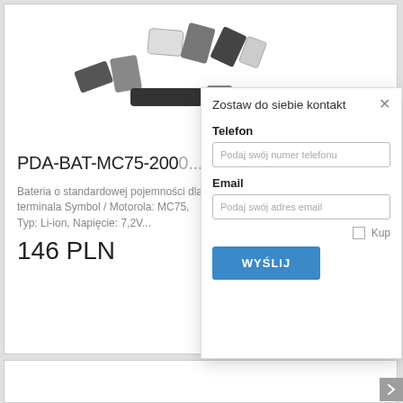[Figure (photo): Multiple batteries and battery packs for PDA/mobile devices arranged in a fan-like display]
PDA-BAT-MC75-200...
Bateria o standardowej pojemności dla terminala Symbol / Motorola: MC75, Typ: Li-ion, Napięcie: 7,2V...
146 PLN
Zostaw do siebie kontakt
Telefon
Podaj swój numer telefonu
Email
Podaj swój adres email
Kup
WYŚLIJ
[Figure (photo): Black battery pack for PDA device, product photo]